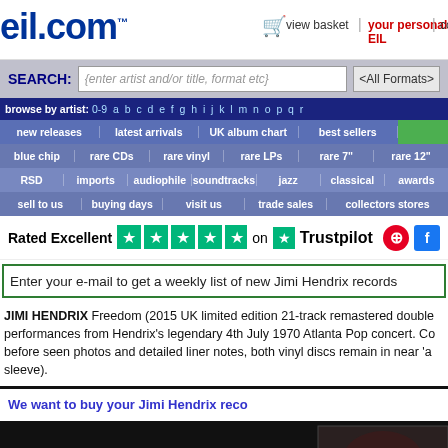eil.com — view basket | your personal EIL | co...
SEARCH: {enter artist and/or title, format etc} <All Formats>
browse by artist: 0-9 a b c d e f g h i j k l m n o p q r
new releases | latest arrivals | UK album chart | best sellers
blue chip | rare CDs | rare vinyl | rare LPs | rare 7" | rare 12"
RSD | imports | audiophile | soundtracks | jazz | classical | awards
sell to us | buying days | visit us | trade sales | collectors stores
Rated Excellent ★★★★★ on Trustpilot
Enter your e-mail to get a weekly list of new Jimi Hendrix records
JIMI HENDRIX Freedom (2015 UK limited edition 21-track remastered double performances from Hendrix's legendary 4th July 1970 Atlanta Pop concert. Co before seen photos and detailed liner notes, both vinyl discs remain in near 'a sleeve).
We want to buy your Jimi Hendrix reco...
[Figure (photo): Album cover image of Jimi Hendrix Freedom in dark background]